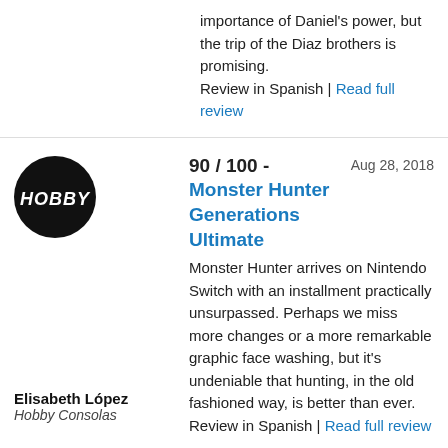importance of Daniel's power, but the trip of the Diaz brothers is promising. Review in Spanish | Read full review
[Figure (logo): Hobby Consolas circular black logo with white italic text HOBBY]
90 / 100 - Monster Hunter Generations Ultimate    Aug 28, 2018
Monster Hunter arrives on Nintendo Switch with an installment practically unsurpassed. Perhaps we miss more changes or a more remarkable graphic face washing, but it's undeniable that hunting, in the old fashioned way, is better than ever. Review in Spanish | Read full review
Elisabeth López
Hobby Consolas